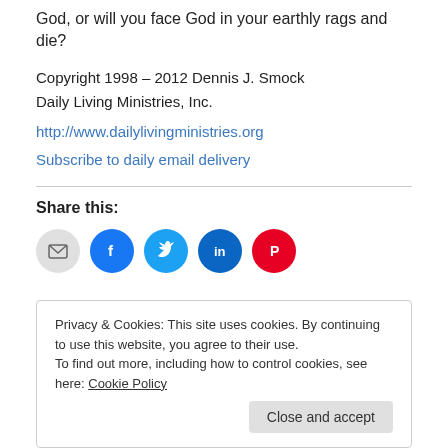God, or will you face God in your earthly rags and die?
Copyright 1998 – 2012 Dennis J. Smock
Daily Living Ministries, Inc.
http://www.dailylivingministries.org
Subscribe to daily email delivery
[Figure (infographic): Social share icons: email (gray circle), Facebook (blue circle), Twitter (light blue circle), LinkedIn (dark blue circle), Pinterest (red circle)]
Privacy & Cookies: This site uses cookies. By continuing to use this website, you agree to their use. To find out more, including how to control cookies, see here: Cookie Policy